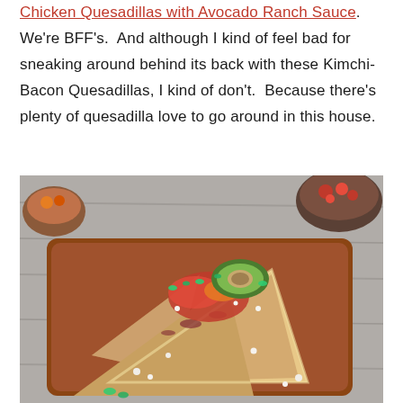Chicken Quesadillas with Avocado Ranch Sauce. We're BFF's. And although I kind of feel bad for sneaking around behind its back with these Kimchi-Bacon Quesadillas, I kind of don't. Because there's plenty of quesadilla love to go around in this house.
[Figure (photo): A wooden plate holding several wedges of golden-brown quesadillas topped with salsa, crumbled white cheese, sliced avocado, and chopped green onions. Background shows small bowls of kimchi and salsa on a rustic wood surface.]